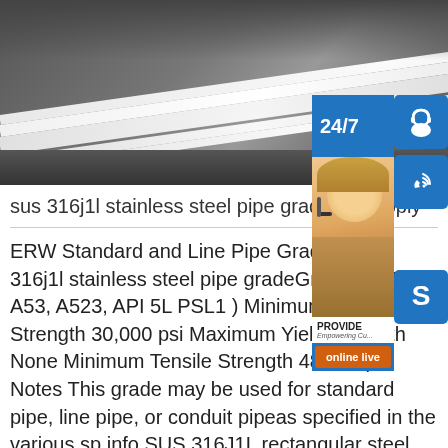[Figure (photo): Stainless steel sheet/plate stack viewed from edge, showing multiple layers on industrial shelving]
sus 316j1l stainless steel pipe grade - W upply
ERW Standard and Line Pipe Grades - sus 316j1l stainless steel pipe gradeGrade (ASTM A53, A523, API 5L PSL1 ) Minimum Yield Strength 30,000 psi Maximum Yield Strength None Minimum Tensile Strength 48,000 psi Notes This grade may be used for standard pipe, line pipe, or conduit pipeas specified in the various sp.info SUS 316J1L rectangular steel pipe 25